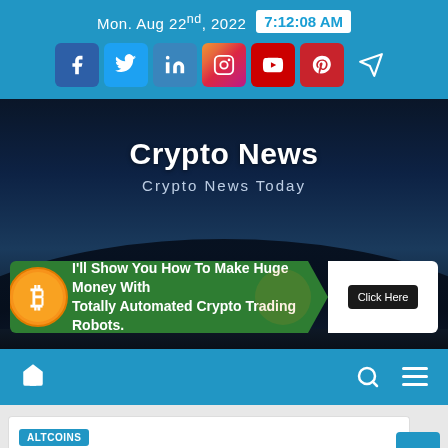Mon. Aug 22nd, 2022  7:12:08 AM
[Figure (screenshot): Row of social media icons: Facebook, Twitter, LinkedIn, Instagram, YouTube, Pinterest, Telegram]
Crypto News
Crypto News Today
[Figure (infographic): Bitcoin advertisement banner: I'll Show You How To Make Huge Money With Totally Automated Crypto Trading Robots. Click Here]
[Figure (screenshot): Navigation bar with home icon, search icon, and hamburger menu icon on blue background]
ALTCOINS